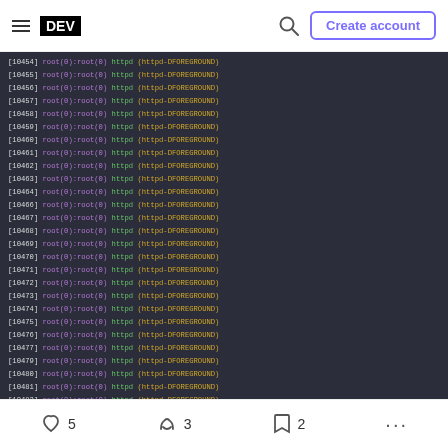DEV - navigation bar with hamburger menu, DEV logo, search icon, Create account button
[Figure (screenshot): Terminal/console output screenshot showing repeated log lines with process IDs from 10454 to 10491, each line showing: [PIDNUM] root(0):root(0) httpd (httpd-DFOREGROUND)]
5 (heart/reactions) | 3 (unicorn reactions) | 2 (bookmark) | ... (more options)